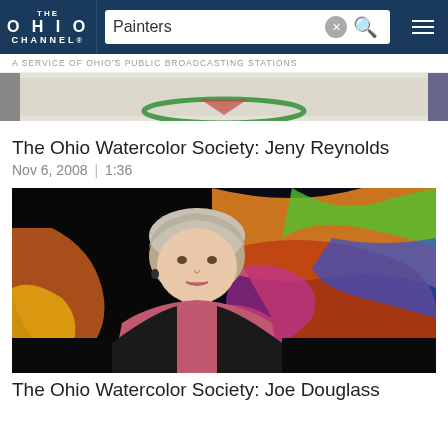THE OHIO CHANNEL
Painters
A SERVICE OF OHIO'S PUBLIC BROADCASTING STATIONS
[Figure (photo): Partial view of a painting/artwork thumbnail at top of page]
The Ohio Watercolor Society: Jeny Reynolds
Nov 6, 2008 | 1:36
[Figure (photo): Video thumbnail showing an elderly woman with short gray hair wearing a pink turtleneck and dark jacket, seated in front of a colorful abstract painting]
The Ohio Watercolor Society: Joe Douglass